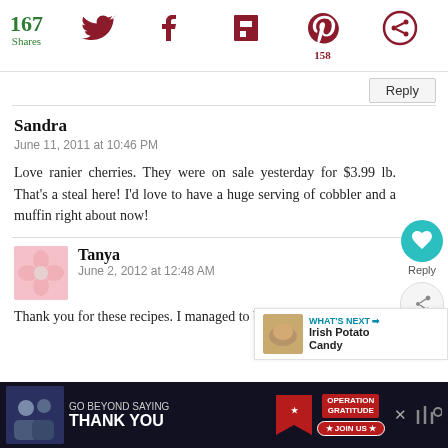[Figure (infographic): Social share bar showing 167 Shares count in green, Twitter bird icon, Facebook f icon, Flipboard icon, Pinterest p icon with 158 count, and a circular share icon, all in dark red/maroon color]
Reply
Sandra
June 11, 2011 at 10:46 PM
Love ranier cherries. They were on sale yesterday for $3.99 lb. That's a steal here! I'd love to have a huge serving of cobbler and a muffin right about now!
Tanya
June 2, 2012 at 12:48 AM
Thank you for these recipes. I managed to buy about 4 lbs of Rainier cherries yesterday for $1.99/lb. The quality hit...
[Figure (infographic): WHAT'S NEXT banner with Irish Potato Candy text and a photo of potato candy]
[Figure (infographic): Advertisement banner: GO BEYOND SAYING THANK YOU - Operation Gratitude JOIN US]